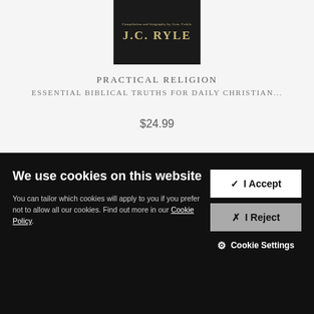[Figure (illustration): Book cover for J.C. Ryle 'Practical Religion' — dark background with gold text showing author name J.C. RYLE and small subtitle text 'Compilation and biography by Gene Fedele']
PRACTICAL RELIGION
ESSENTIAL BIBLICAL TRUTHS FOR DAILY CHRISTIAN...
$24.99
We use cookies on this website
You can tailor which cookies will apply to you if you prefer not to allow all our cookies. Find out more in our Cookie Policy.